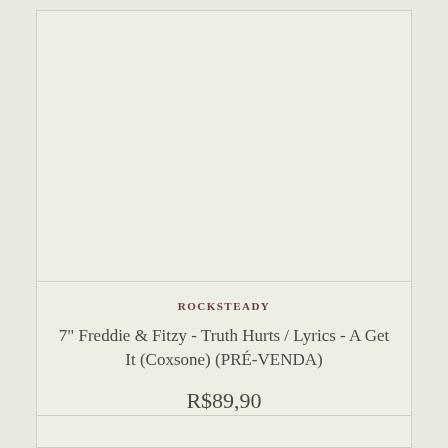[Figure (other): Product image area — blank cream-colored rectangle placeholder for vinyl record image]
ROCKSTEADY
7" Freddie & Fitzy - Truth Hurts / Lyrics - A Get It (Coxsone) (PRÉ-VENDA)
R$89,90
12x de R$9,11